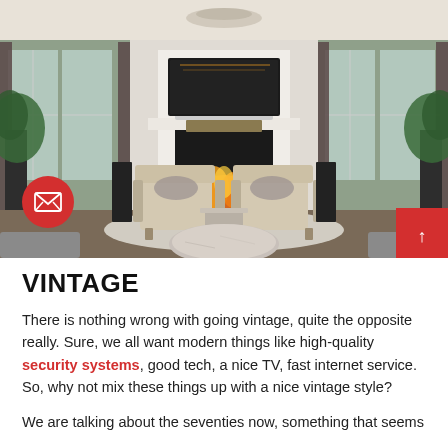[Figure (photo): Interior photo of an elegant living room with a fireplace, two French-style armchairs, a round marble coffee table, large windows with dark curtains, and lush plants. A TV is mounted above the white fireplace mantel. A red email icon circle overlays the bottom-left of the photo, and a red scroll-up button overlays the bottom-right.]
VINTAGE
There is nothing wrong with going vintage, quite the opposite really. Sure, we all want modern things like high-quality security systems, good tech, a nice TV, fast internet service. So, why not mix these things up with a nice vintage style?
We are talking about the seventies now, something that seems